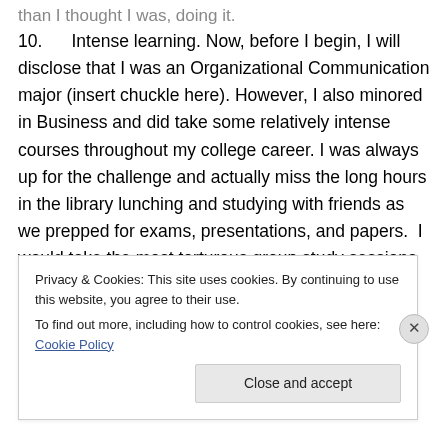than I thought I was, doing it.
10.    Intense learning. Now, before I begin, I will disclose that I was an Organizational Communication major (insert chuckle here). However, I also minored in Business and did take some relatively intense courses throughout my college career. I was always up for the challenge and actually miss the long hours in the library lunching and studying with friends as we prepped for exams, presentations, and papers.  I would take the most torturous group study sessions over a day in the office anytime, where the risk of getting a C on a test is always
Privacy & Cookies: This site uses cookies. By continuing to use this website, you agree to their use.
To find out more, including how to control cookies, see here: Cookie Policy